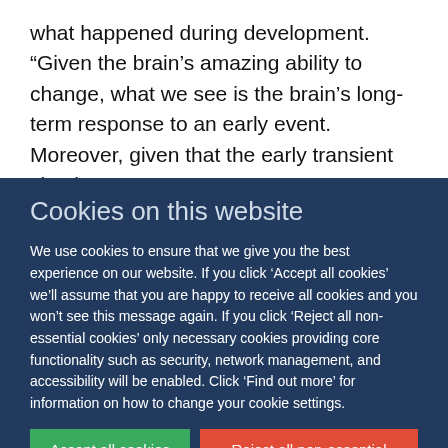what happened during development. “Given the brain’s amazing ability to change, what we see is the brain’s long-term response to an early event. Moreover, given that the early transient circuits go away, we cannot even see what
Cookies on this website
We use cookies to ensure that we give you the best experience on our website. If you click ‘Accept all cookies’ we’ll assume that you are happy to receive all cookies and you won’t see this message again. If you click ‘Reject all non-essential cookies’ only necessary cookies providing core functionality such as security, network management, and accessibility will be enabled. Click ‘Find out more’ for information on how to change your cookie settings.
Accept all cookies
Reject all non-essential cookies
Find out more